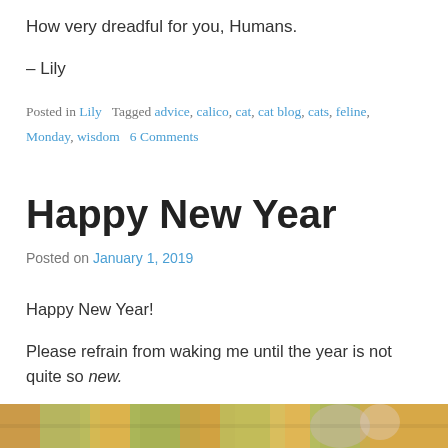How very dreadful for you, Humans.
– Lily
Posted in Lily   Tagged advice, calico, cat, cat blog, cats, feline, Monday, wisdom   6 Comments
Happy New Year
Posted on January 1, 2019
Happy New Year!
Please refrain from waking me until the year is not quite so new.
[Figure (photo): Partial view of a colorful image at the bottom of the page, appears to be a cat photo with decorative elements]